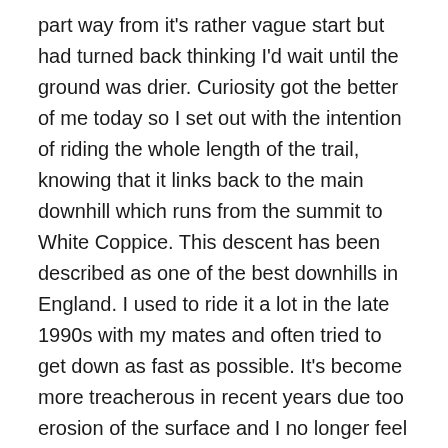part way from it's rather vague start but had turned back thinking I'd wait until the ground was drier. Curiosity got the better of me today so I set out with the intention of riding the whole length of the trail, knowing that it links back to the main downhill which runs from the summit to White Coppice. This descent has been described as one of the best downhills in England. I used to ride it a lot in the late 1990s with my mates and often tried to get down as fast as possible. It's become more treacherous in recent years due too erosion of the surface and I no longer feel the need to beat everyone on the way down so I was only ever going to ride with caution today.
I started along my usual, mainly off road way to White Coppice , which confirmed that the rain has left the ground as wet as it is in winter. There were dozens of cars parked on the approach to the White Coppice cricket field though no game was being played today. Walking seems to have